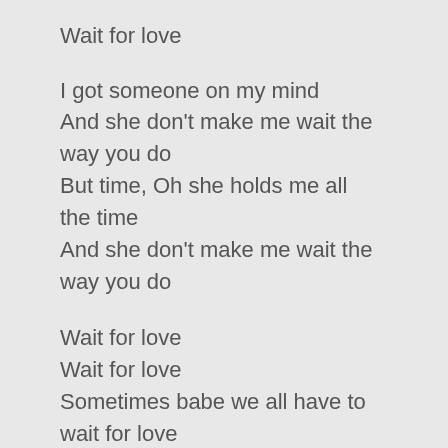Wait for love
I got someone on my mind
And she don’t make me wait the way you do
But time, Oh she holds me all the time
And she don’t make me wait the way you do
Wait for love
Wait for love
Sometimes babe we all have to wait for love